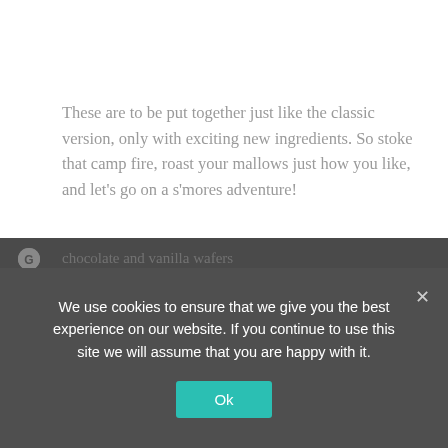These are to be put together just like the classic version, only with exciting new ingredients. So stoke that camp fire, roast your mallows just how you like, and let's go on a s'mores adventure!
The Chocolate Covered Strawberry
For a romantic take on s'mores, or if you just like strawberries!
chocolate and vanilla wafers
with mallows
sliced strawberries
We use cookies to ensure that we give you the best experience on our website. If you continue to use this site we will assume that you are happy with it.